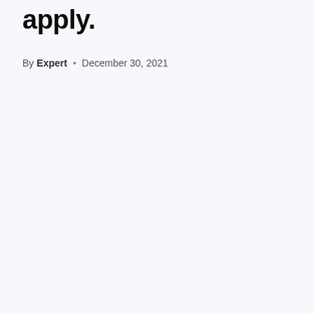apply.
By Expert • December 30, 2021